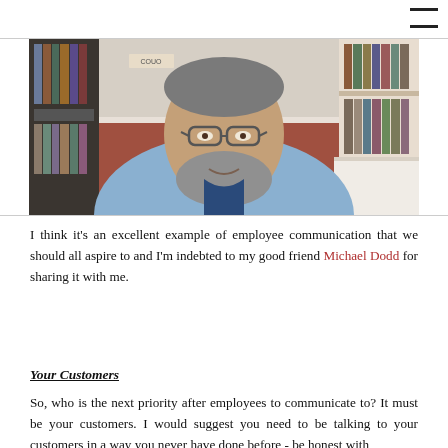[Figure (photo): A man with glasses and grey beard wearing a light blue shirt, seated in front of a bookshelf and reddish-brown wall, appearing to speak to camera.]
I think it's an excellent example of employee communication that we should all aspire to and I'm indebted to my good friend Michael Dodd for sharing it with me.
Your Customers
So, who is the next priority after employees to communicate to? It must be your customers. I would suggest you need to be talking to your customers in a way you never have done before - be honest with